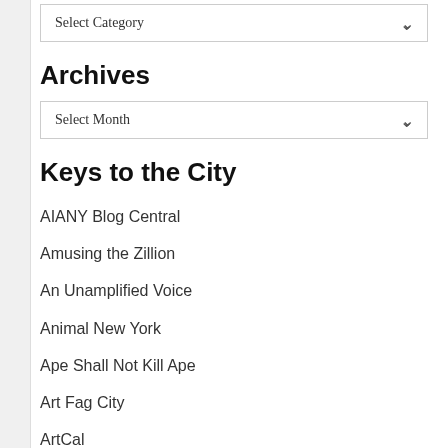Select Category
Archives
Select Month
Keys to the City
AIANY Blog Central
Amusing the Zillion
An Unamplified Voice
Animal New York
Ape Shall Not Kill Ape
Art Fag City
ArtCal
ArtSlant
Be in Brooklyn